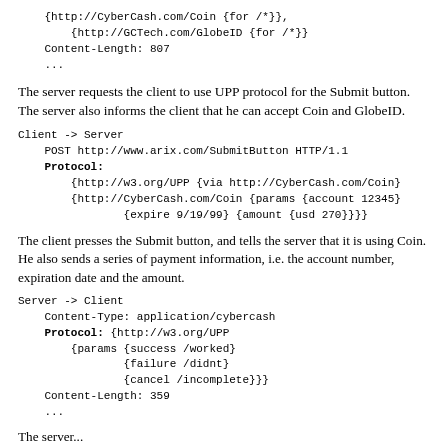{http://CyberCash.com/Coin {for /*}},
        {http://GCTech.com/GlobeID {for /*}}
    Content-Length: 807
    ...
The server requests the client to use UPP protocol for the Submit button. The server also informs the client that he can accept Coin and GlobeID.
Client -> Server
    POST http://www.arix.com/SubmitButton HTTP/1.1
    Protocol:
        {http://w3.org/UPP {via http://CyberCash.com/Coin}
        {http://CyberCash.com/Coin {params {account 12345}
                {expire 9/19/99} {amount {usd 270}}}}
The client presses the Submit button, and tells the server that it is using Coin. He also sends a series of payment information, i.e. the account number, expiration date and the amount.
Server -> Client
    Content-Type: application/cybercash
    Protocol: {http://w3.org/UPP
        {params {success /worked}
                {failure /didnt}
                {cancel /incomplete}}}
    Content-Length: 359
    ...
The server...